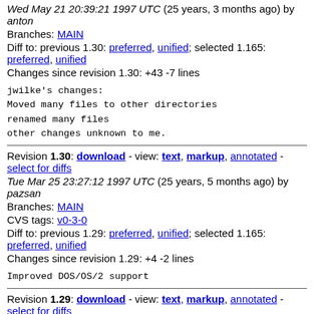Wed May 21 20:39:21 1997 UTC (25 years, 3 months ago) by anton
Branches: MAIN
Diff to: previous 1.30: preferred, unified; selected 1.165: preferred, unified
Changes since revision 1.30: +43 -7 lines
jwilke's changes:
Moved many files to other directories
renamed many files
other changes unknown to me.
Revision 1.30: download - view: text, markup, annotated - select for diffs
Tue Mar 25 23:27:12 1997 UTC (25 years, 5 months ago) by pazsan
Branches: MAIN
CVS tags: v0-3-0
Diff to: previous 1.29: preferred, unified; selected 1.165: preferred, unified
Changes since revision 1.29: +4 -2 lines
Improved DOS/OS/2 support
Revision 1.29: download - view: text, markup, annotated - select for diffs